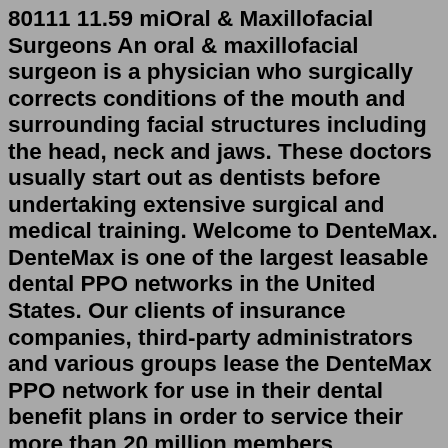80111 11.59 miOral & Maxillofacial Surgeons An oral & maxillofacial surgeon is a physician who surgically corrects conditions of the mouth and surrounding facial structures including the head, neck and jaws. These doctors usually start out as dentists before undertaking extensive surgical and medical training. Welcome to DenteMax. DenteMax is one of the largest leasable dental PPO networks in the United States. Our clients of insurance companies, third-party administrators and various groups lease the DenteMax PPO network for use in their dental benefit plans in order to service their more than 20 million members nationwide. DenteMax dentists agree ...Absolute Dental accepts UnitedHealthcare (UHC) dental Insurance at our 25+ dentist locations in Reno & Las Vegas. Give us a call for more details, or schedule an appointment today! ... Recovering From Oral Surgery; 5 Do's & Do Not's After Wisdom Teeth Extraction; Cracked Tooth Syndrome: Symptoms, Treatments, Prevention;Explore employer, individual & family, Medicare, Medicaid health